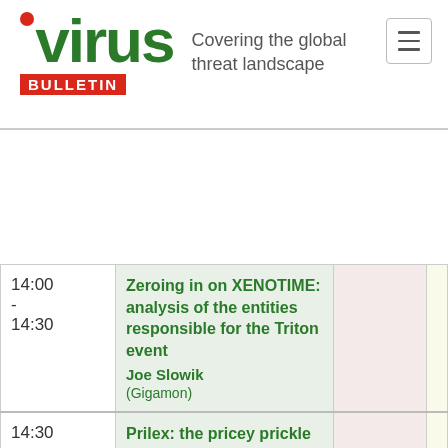[Figure (logo): Virus Bulletin logo with red dot above the V in virus, green bold text 'virus', red rectangle badge with white text 'BULLETIN', and tagline 'Covering the global threat landscape' in grey]
| Time | Talk |  |  |
| --- | --- | --- | --- |
| 14:00 - 14:30 | Zeroing in on XENOTIME: analysis of the entities responsible for the Triton event
Joe Slowik (Gigamon) |  |  |
| 14:30 - 15:00 | Prilex: the pricey prickle credit card complex
Fabio Assolini & Fabio Marenghi |  |  |